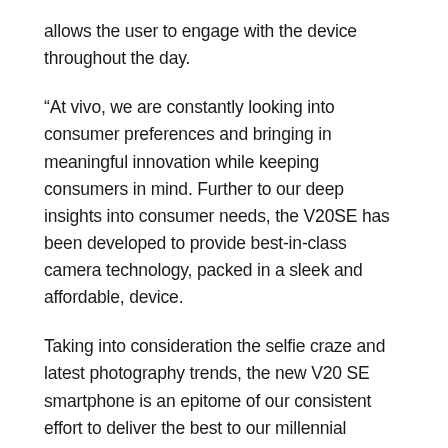allows the user to engage with the device throughout the day.
“At vivo, we are constantly looking into consumer preferences and bringing in meaningful innovation while keeping consumers in mind. Further to our deep insights into consumer needs, the V20SE has been developed to provide best-in-class camera technology, packed in a sleek and affordable, device.
Taking into consideration the selfie craze and latest photography trends, the new V20 SE smartphone is an epitome of our consistent effort to deliver the best to our millennial consumers.” said Zohair Chohan, Senior Manager Brand Strategy for vivo in Pakistan.